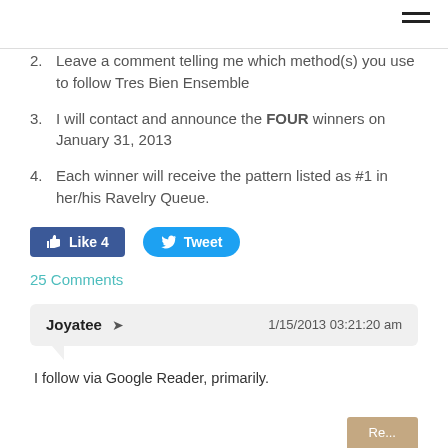2. Leave a comment telling me which method(s) you use to follow Tres Bien Ensemble
3. I will contact and announce the FOUR winners on January 31, 2013
4. Each winner will receive the pattern listed as #1 in her/his Ravelry Queue.
[Figure (other): Facebook Like button with count 4 and Twitter Tweet button]
25 Comments
Joyatee → 1/15/2013 03:21:20 am
I follow via Google Reader, primarily.